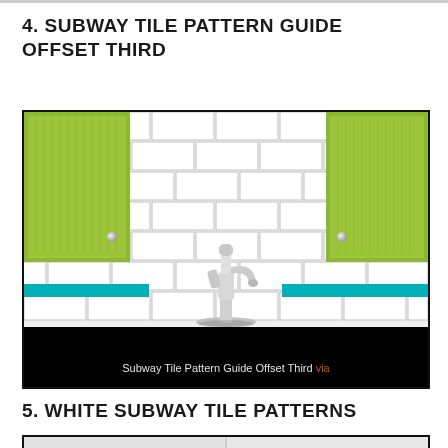4. SUBWAY TILE PATTERN GUIDE OFFSET THIRD
[Figure (illustration): Kitchen backsplash with white subway tiles arranged in offset third pattern, green cabinets on left and right, a white faucet in the center bottom, teal accent bars along the bottom, and a black caption bar reading 'Subway Tile Pattern Guide Offset Third via']
Subway Tile Pattern Guide Offset Third via
5. WHITE SUBWAY TILE PATTERNS